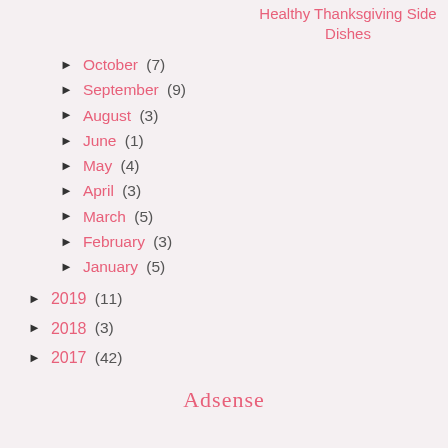Healthy Thanksgiving Side Dishes
► October (7)
► September (9)
► August (3)
► June (1)
► May (4)
► April (3)
► March (5)
► February (3)
► January (5)
► 2019 (11)
► 2018 (3)
► 2017 (42)
Adsense